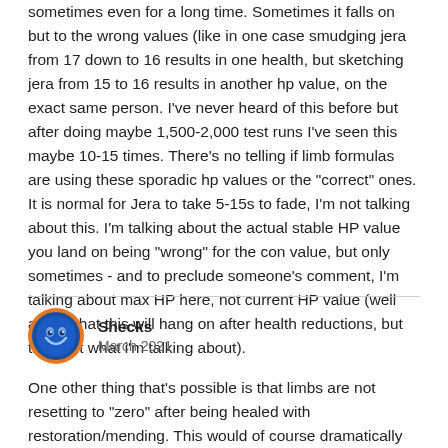sometimes even for a long time. Sometimes it falls on but to the wrong values (like in one case smudging jera from 17 down to 16 results in one health, but sketching jera from 15 to 16 results in another hp value, on the exact same person. I've never heard of this before but after doing maybe 1,500-2,000 test runs I've seen this maybe 10-15 times. There's no telling if limb formulas are using these sporadic hp values or the "correct" ones. It is normal for Jera to take 5-15s to fade, I'm not talking about this. I'm talking about the actual stable HP value you land on being "wrong" for the con value, but only sometimes - and to preclude someone's comment, I'm talking about max HP here, not current HP value (well aware that this will hang on after health reductions, but this isn't what i'm talking about).
[Figure (illustration): Circular avatar icon with blue background and orange border showing a stylized face/emoji design]
Shecks
March 2021
One other thing that's possible is that limbs are not resetting to "zero" after being healed with restoration/mending. This would of course dramatically screw up limb damage testing as